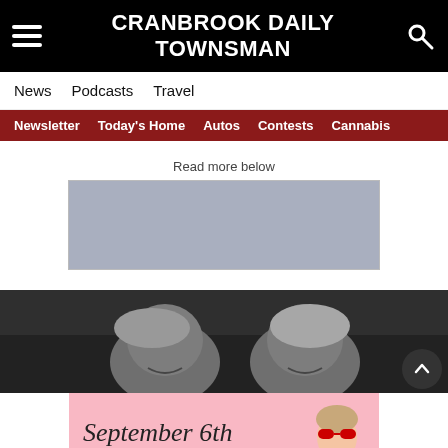CRANBROOK DAILY TOWNSMAN
News  Podcasts  Travel
Newsletter  Today's Home  Autos  Contests  Cannabis
Read more below
[Figure (other): Advertisement placeholder - grey rectangle]
[Figure (photo): Black and white photo of two people smiling, appearing to be at a sports event]
[Figure (other): Advertisement banner with pink background reading 'September 6th' with image of child wearing red sunglasses]